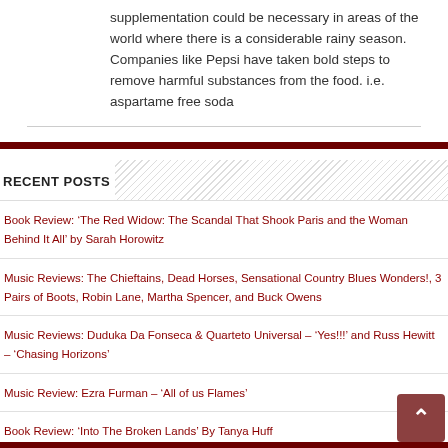supplementation could be necessary in areas of the world where there is a considerable rainy season. Companies like Pepsi have taken bold steps to remove harmful substances from the food. i.e. aspartame free soda
RECENT POSTS
Book Review: ‘The Red Widow: The Scandal That Shook Paris and the Woman Behind It All’ by Sarah Horowitz
Music Reviews: The Chieftains, Dead Horses, Sensational Country Blues Wonders!, 3 Pairs of Boots, Robin Lane, Martha Spencer, and Buck Owens
Music Reviews: Duduka Da Fonseca & Quarteto Universal – ‘Yes!!!’ and Russ Hewitt – ‘Chasing Horizons’
Music Review: Ezra Furman – ‘All of us Flames’
Book Review: ‘Into The Broken Lands’ By Tanya Huff